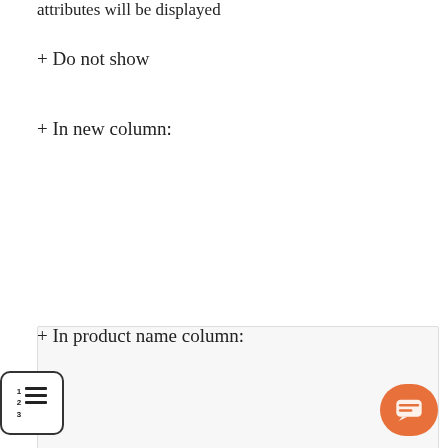attributes will be displayed
+ Do not show
+ In new column:
[Figure (screenshot): A UI box/panel with light gray background, empty content area; overlapping icon with numbered list symbol (1, 2, 3 with horizontal lines)]
+ In product name column:
[Figure (screenshot): A UI box/panel with light gray background, partially visible at bottom of page; chat bubble button (orange) visible at bottom right]